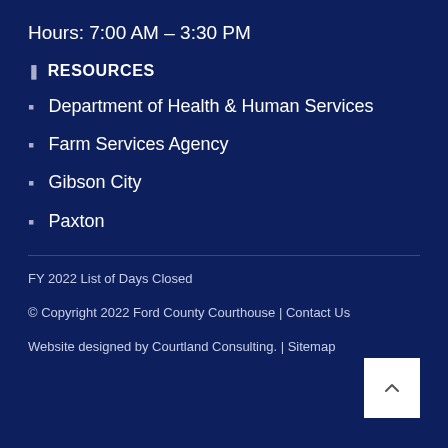Hours: 7:00 AM – 3:30 PM
❚ RESOURCES
Department of Health & Human Services
Farm Services Agency
Gibson City
Paxton
FY 2022 List of Days Closed
© Copyright 2022 Ford County Courthouse | Contact Us
Website designed by Courtland Consulting. | Sitemap